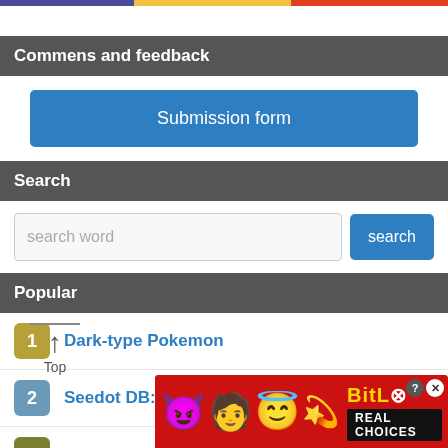Commens and feedback
Submission form
Search
search word | search
Popular
1 Dark-type Pokemon
2 Seedot DB: stats, moves, locations &a...
3 Amnesia : Move
> See All
Comme
[Figure (screenshot): BitLife advertisement banner with cartoon emojis (devil, woman, halo face, sperm) and BitLife logo with 'REAL CHOICES' tagline on red background]